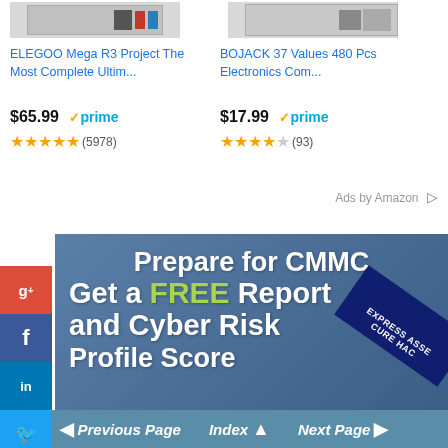[Figure (screenshot): ELEGOO Mega R3 Project product thumbnail image placeholder]
ELEGOO Mega R3 Project The Most Complete Ultim...
$65.99 ✓prime ★★★★★ (5978)
[Figure (screenshot): BOJACK 37 Values 480 Pcs Electronics product thumbnail image placeholder]
BOJACK 37 Values 480 Pcs Electronics Com...
$17.99 ✓prime ★★★★★ (93)
Ads by Amazon ▷
[Figure (infographic): Prepare for CMMC - Get a FREE Report and Cyber Risk Profile Score advertisement banner with blue background and dark navy badge reading EXPRESS ASSE...]
◀ Previous Page   Index ▲   Next Page ▶